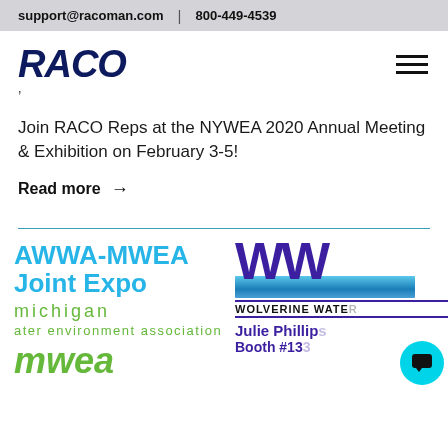support@racoman.com  |  800-449-4539
[Figure (logo): RACO company logo in bold dark navy italic font]
Join RACO Reps at the NYWEA 2020 Annual Meeting & Exhibition on February 3-5!
Read more →
[Figure (logo): AWWA-MWEA Joint Expo logo with Michigan Water Environment Association text in blue and green]
[Figure (logo): Wolverine Water logo with WWW letters in purple, water waves graphic, Wolverine Water text, Julie Phillips, Booth #133 text]